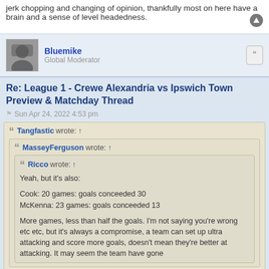jerk chopping and changing of opinion, thankfully most on here have a brain and a sense of level headedness.
Bluemike
Global Moderator
Re: League 1 - Crewe Alexandria vs Ipswich Town Preview & Matchday Thread
Sun Apr 24, 2022 4:53 pm
Tangfastic wrote: ↑
MasseyFerguson wrote: ↑
Ricco wrote: ↑
Yeah, but it's also:

Cook: 20 games: goals conceeded 30
McKenna: 23 games: goals conceeded 13

More games, less than half the goals. I'm not saying you're wrong etc etc, but it's always a compromise, a team can set up ultra attacking and score more goals, doesn't mean they're better at attacking. It may seem the team have gone